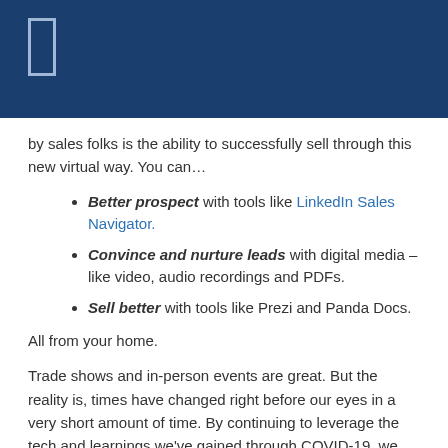by sales folks is the ability to successfully sell through this new virtual way. You can…
Better prospect with tools like LinkedIn Sales Navigator.
Convince and nurture leads with digital media – like video, audio recordings and PDFs.
Sell better with tools like Prezi and Panda Docs.
All from your home.
Trade shows and in-person events are great. But the reality is, times have changed right before our eyes in a very short amount of time. By continuing to leverage the tech and learnings we've gained through COVID-19, we can be better digital and social sellers and it will pay off in the long run.
40% Are Planning To Adopt More Digital Tactics